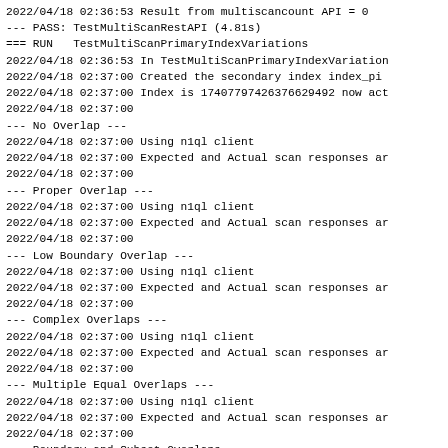2022/04/18 02:36:53 Result from multiscancount API = 0
--- PASS: TestMultiScanRestAPI (4.81s)
=== RUN   TestMultiScanPrimaryIndexVariations
2022/04/18 02:36:53 In TestMultiScanPrimaryIndexVariation
2022/04/18 02:37:00 Created the secondary index index_pi
2022/04/18 02:37:00 Index is 17407797426376629492 now act
2022/04/18 02:37:00
--- No Overlap ---
2022/04/18 02:37:00 Using n1ql client
2022/04/18 02:37:00 Expected and Actual scan responses ar
2022/04/18 02:37:00
--- Proper Overlap ---
2022/04/18 02:37:00 Using n1ql client
2022/04/18 02:37:00 Expected and Actual scan responses ar
2022/04/18 02:37:00
--- Low Boundary Overlap ---
2022/04/18 02:37:00 Using n1ql client
2022/04/18 02:37:00 Expected and Actual scan responses ar
2022/04/18 02:37:00
--- Complex Overlaps ---
2022/04/18 02:37:00 Using n1ql client
2022/04/18 02:37:00 Expected and Actual scan responses ar
2022/04/18 02:37:00
--- Multiple Equal Overlaps ---
2022/04/18 02:37:00 Using n1ql client
2022/04/18 02:37:00 Expected and Actual scan responses ar
2022/04/18 02:37:00
--- Boundary and Subset Overlaps ---
2022/04/18 02:37:00 Using n1ql client
2022/04/18 02:37:00 Expected and Actual scan responses ar